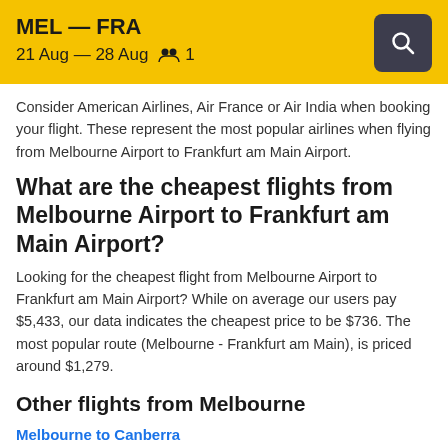MEL — FRA
21 Aug — 28 Aug  1
Consider American Airlines, Air France or Air India when booking your flight. These represent the most popular airlines when flying from Melbourne Airport to Frankfurt am Main Airport.
What are the cheapest flights from Melbourne Airport to Frankfurt am Main Airport?
Looking for the cheapest flight from Melbourne Airport to Frankfurt am Main Airport? While on average our users pay $5,433, our data indicates the cheapest price to be $736. The most popular route (Melbourne - Frankfurt am Main), is priced around $1,279.
Other flights from Melbourne
Melbourne to Canberra
Melbourne to Sydney
Melbourne to [truncated]